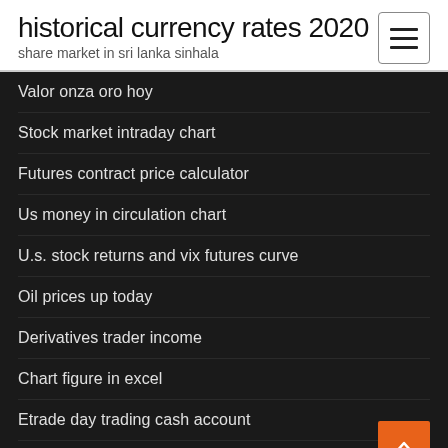historical currency rates 2020
share market in sri lanka sinhala
Valor onza oro hoy
Stock market intraday chart
Futures contract price calculator
Us money in circulation chart
U.s. stock returns and vix futures curve
Oil prices up today
Derivatives trader income
Chart figure in excel
Etrade day trading cash account
Mtb online web banking